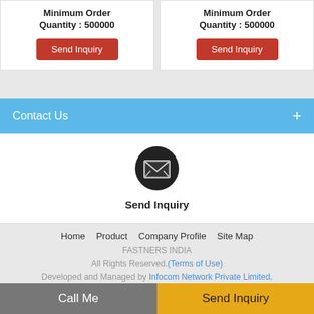Minimum Order Quantity : 500000
Minimum Order Quantity : 500000
Contact Us +
[Figure (infographic): Black circle with envelope icon and Send Inquiry label below]
Send Inquiry
Home   Product   Company Profile   Site Map
FASTNERS INDIA
All Rights Reserved.(Terms of Use)
Developed and Managed by Infocom Network Private Limited.
Go to Desktop
Call Me
Send Inquiry